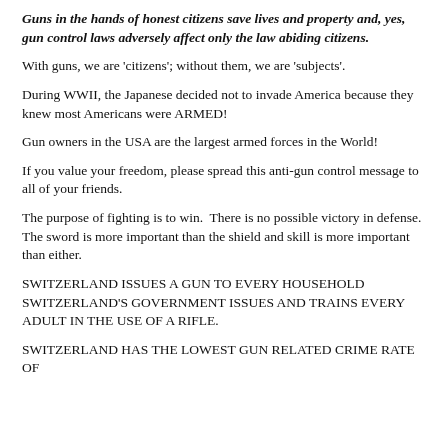Guns in the hands of honest citizens save lives and property and, yes, gun control laws adversely affect only the law abiding citizens.
With guns, we are 'citizens'; without them, we are 'subjects'.
During WWII, the Japanese decided not to invade America because they knew most Americans were ARMED!
Gun owners in the USA are the largest armed forces in the World!
If you value your freedom, please spread this anti-gun control message to all of your friends.
The purpose of fighting is to win.  There is no possible victory in defense.  The sword is more important than the shield and skill is more important than either.
SWITZERLAND ISSUES A GUN TO EVERY HOUSEHOLD SWITZERLAND'S GOVERNMENT ISSUES AND TRAINS EVERY ADULT IN THE USE OF A RIFLE.
SWITZERLAND HAS THE LOWEST GUN RELATED CRIME RATE OF